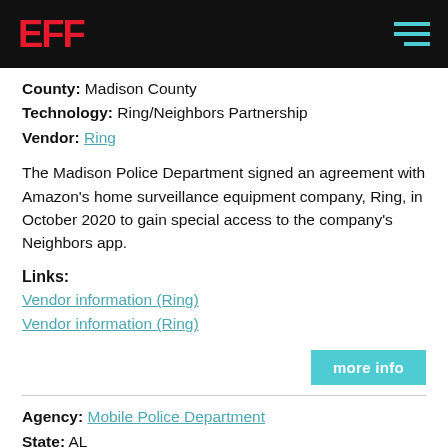EFF
County: Madison County
Technology: Ring/Neighbors Partnership
Vendor: Ring
The Madison Police Department signed an agreement with Amazon's home surveillance equipment company, Ring, in October 2020 to gain special access to the company's Neighbors app.
Links:
Vendor information (Ring)
Vendor information (Ring)
more info
Agency: Mobile Police Department
State: AL
City: Mobile
County: Mobile County
Technology: Camera Registry